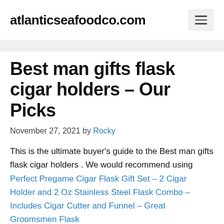atlanticseafoodco.com
Best man gifts flask cigar holders – Our Picks
November 27, 2021 by Rocky
This is the ultimate buyer's guide to the Best man gifts flask cigar holders . We would recommend using Perfect Pregame Cigar Flask Gift Set – 2 Cigar Holder and 2 Oz Stainless Steel Flask Combo – Includes Cigar Cutter and Funnel – Great Groomsmen Flask